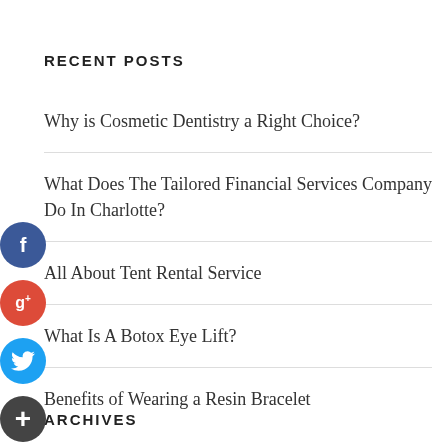RECENT POSTS
Why is Cosmetic Dentistry a Right Choice?
What Does The Tailored Financial Services Company Do In Charlotte?
All About Tent Rental Service
What Is A Botox Eye Lift?
Benefits of Wearing a Resin Bracelet
ARCHIVES